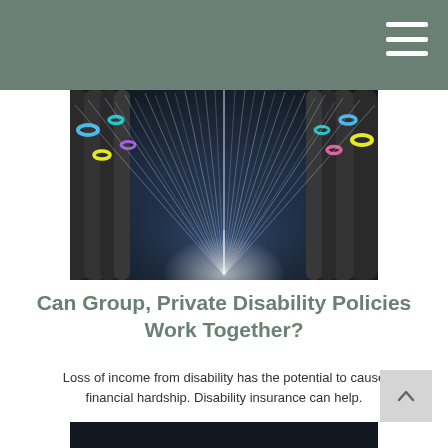[Figure (photo): Colorful fiber optic cables fanning out from a central point against a dark background, with colored rings (blue, yellow, teal, pink) at the cable ends]
Can Group, Private Disability Policies Work Together?
Loss of income from disability has the potential to cause financial hardship. Disability insurance can help.